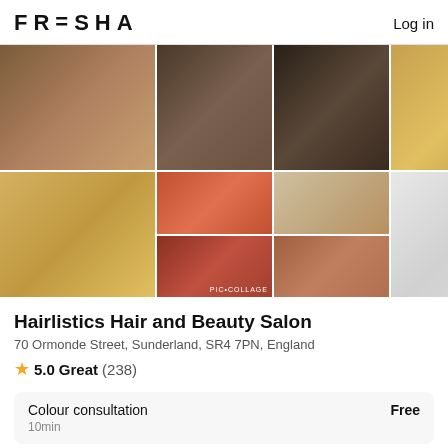FRESHA   Log in
[Figure (photo): Collage of hair and beauty salon images showing various hair colors and styles, eyelash closeup, and painted nails]
Hairlistics Hair and Beauty Salon
70 Ormonde Street, Sunderland, SR4 7PN, England
★ 5.0 Great (238)
| Service | Duration | Price |
| --- | --- | --- |
| Colour consultation | 10min | Free |